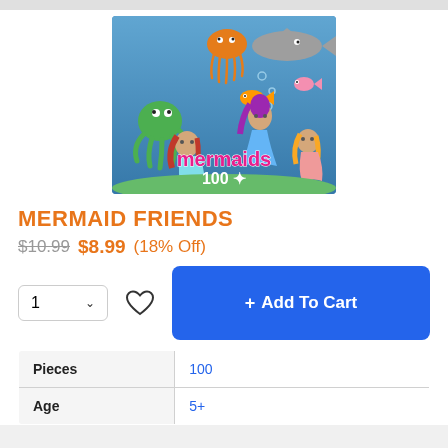[Figure (illustration): Product image of Mermaids 100-piece puzzle showing colorful cartoon mermaids, sea creatures including an octopus, jellyfish, shark, and fish in an underwater scene with the text 'mermaids 100' overlaid]
MERMAID FRIENDS
$10.99 $8.99 (18% Off)
1 [quantity selector] [wishlist heart icon] + Add To Cart
|  |  |
| --- | --- |
| Pieces | 100 |
| Age | 5+ |